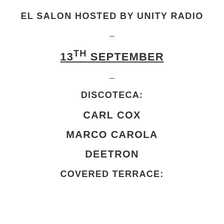EL SALON HOSTED BY UNITY RADIO
–
13TH SEPTEMBER
–
DISCOTECA:
CARL COX
MARCO CAROLA
DEETRON
COVERED TERRACE: